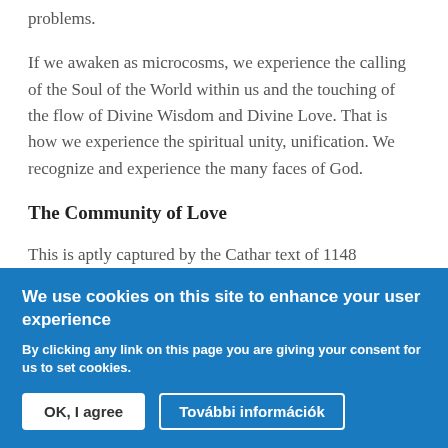problems.
If we awaken as microcosms, we experience the calling of the Soul of the World within us and the touching of the flow of Divine Wisdom and Divine Love. That is how we experience the spiritual unity, unification. We recognize and experience the many faces of God.
The Community of Love
This is aptly captured by the Cathar text of 1148
We use cookies on this site to enhance your user experience
By clicking any link on this page you are giving your consent for us to set cookies.
OK, I agree
További információk